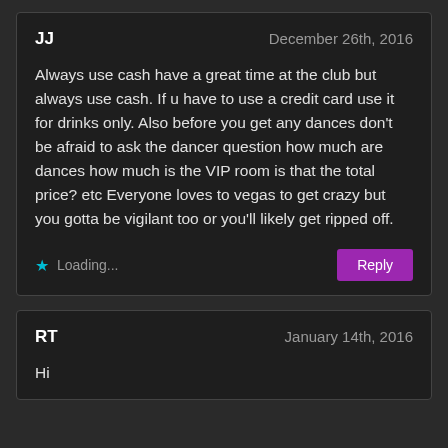JJ
December 26th, 2016
Always use cash have a great time at the club but always use cash. If u have to use a credit card use it for drinks only. Also before you get any dances don't be afraid to ask the dancer question how much are dances how much is the VIP room is that the total price? etc Everyone loves to vegas to get crazy but you gotta be vigilant too or you'll likely get ripped off.
Loading...
Reply
RT
January 14th, 2016
Hi